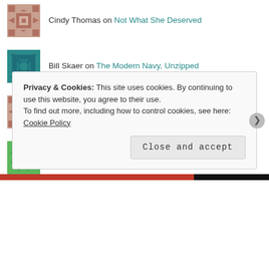Cindy Thomas on Not What She Deserved
Bill Skaer on The Modern Navy, Unzipped
Cindy Thomas on One Thing After Another- From...
Dana Pere on It's the Truth
Privacy & Cookies: This site uses cookies. By continuing to use this website, you agree to their use. To find out more, including how to control cookies, see here: Cookie Policy
Close and accept